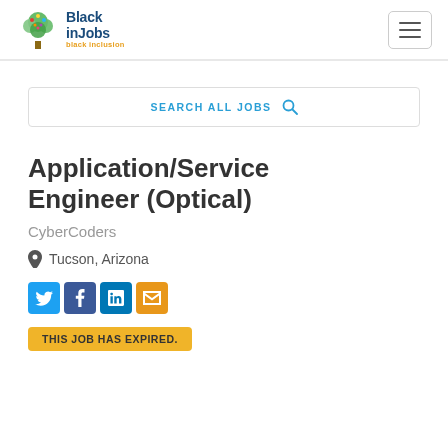[Figure (logo): BlackinJobs logo with colorful tree icon and text 'Black inJobs' in dark blue and 'black inclusion' in orange]
Application/Service Engineer (Optical)
CyberCoders
Tucson, Arizona
THIS JOB HAS EXPIRED.